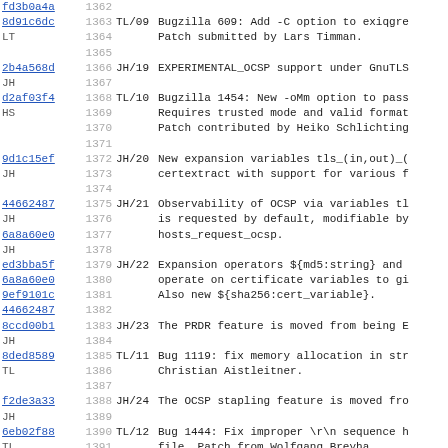fd3b0a4a 1362
8d91c6dc 1363 TL/09 Bugzilla 609: Add -C option to exiqgre
LT       1364       Patch submitted by Lars Timman.
         1365
2b4a568d 1366 JH/19 EXPERIMENTAL_OCSP support under GnuTLS
JH       1367
d2af03f4 1368 TL/10 Bugzilla 1454: New -oMm option to pass
HS       1369       Requires trusted mode and valid format
         1370       Patch contributed by Heiko Schlichting
         1371
9d1c15ef 1372 JH/20 New expansion variables tls_(in,out)_(
JH       1373       certextract with support for various f
         1374
44662487 1375 JH/21 Observability of OCSP via variables tl
JH       1376       is requested by default, modifiable by
6a8a60e0 1377       hosts_request_ocsp.
JH       1378
ed3bba5f 1379 JH/22 Expansion operators ${md5:string} and
6a8a60e0 1380       operate on certificate variables to gi
9ef9101c 1381       Also new ${sha256:cert_variable}.
44662487 1382
8ccd00b1 1383 JH/23 The PRDR feature is moved from being E
JH       1384
8ded8589 1385 TL/11 Bug 1119: fix memory allocation in str
TL       1386       Christian Aistleitner.
         1387
f2de3a33 1388 JH/24 The OCSP stapling feature is moved fro
JH       1389
6eb02f88 1390 TL/12 Bug 1444: Fix improper \r\n sequence h
TL       1391       file.  Patch from Wolfgang Breyha.
         1392
00bff6f6 1393 JH/25 Expand the coverage of the delivery $h
JH       1394       client_authenticators run in verif